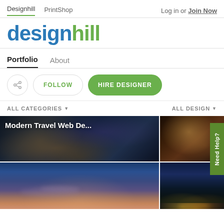Designhill  PrintShop  Log in or Join Now
[Figure (logo): Designhill logo with 'design' in blue and 'hill' in green]
Portfolio  About
< FOLLOW  HIRE DESIGNER
ALL CATEGORIES ▼  ALL DESIGN ▼
[Figure (screenshot): Modern Travel Web De... image grid showing travel photography with dark night sky and sunset scenes in a 2x2 grid layout. Title overlay reads 'Modern Travel Web De...']
Need Help?